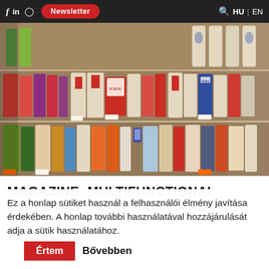f  in  [instagram]  Newsletter  [search] HU | EN
[Figure (photo): Pharmacy/supermarket hair care product shelf with colorful bottles and packages including Elseve, Dove and other hair care brands, with price tags visible.]
MAGAZINE: MULTIFUNCTIONAL EXPECTATIONS IN HAIR CARE
Ez a honlap sütiket használ a felhasználói élmény javítása érdekében. A honlap további használatával hozzájárulását adja a sütik használatához.
Értem  Bővebben